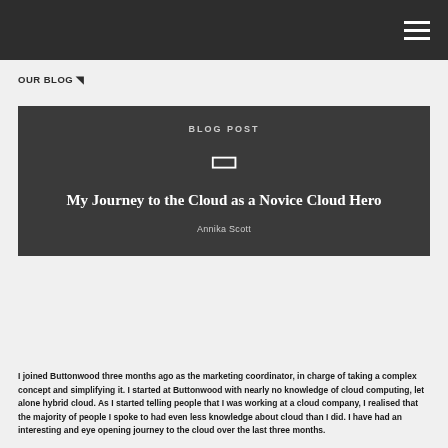OUR BLOG ▷
My Journey to the Cloud as a Novice Cloud Hero
Annika Scott
I joined Buttonwood three months ago as the marketing coordinator, in charge of taking a complex concept and simplifying it. I started at Buttonwood with nearly no knowledge of cloud computing, let alone hybrid cloud. As I started telling people that I was working at a cloud company, I realised that the majority of people I spoke to had even less knowledge about cloud than I did. I have had an interesting and eye opening journey to the cloud over the last three months.